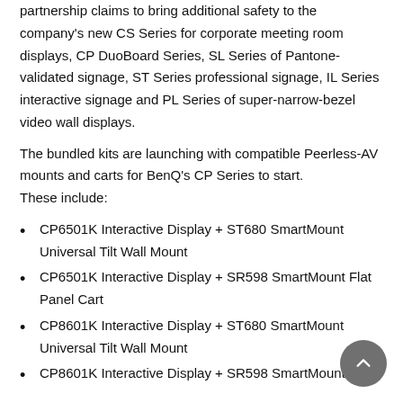partnership claims to bring additional safety to the company's new CS Series for corporate meeting room displays, CP DuoBoard Series, SL Series of Pantone-validated signage, ST Series professional signage, IL Series interactive signage and PL Series of super-narrow-bezel video wall displays.
The bundled kits are launching with compatible Peerless-AV mounts and carts for BenQ's CP Series to start. These include:
CP6501K Interactive Display + ST680 SmartMount Universal Tilt Wall Mount
CP6501K Interactive Display + SR598 SmartMount Flat Panel Cart
CP8601K Interactive Display + ST680 SmartMount Universal Tilt Wall Mount
CP8601K Interactive Display + SR598 SmartMount Flat